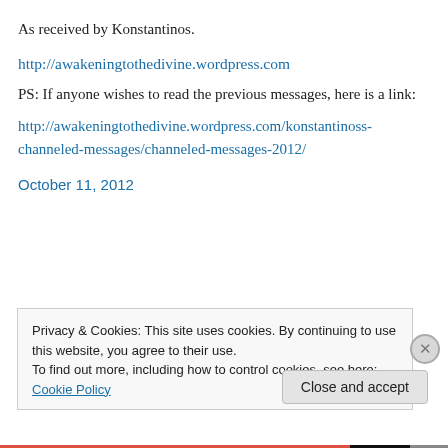As received by Konstantinos.
http://awakeningtothedivine.wordpress.com
PS: If anyone wishes to read the previous messages, here is a link:
http://awakeningtothedivine.wordpress.com/konstantinoss-channeled-messages/channeled-messages-2012/
October 11, 2012
Privacy & Cookies: This site uses cookies. By continuing to use this website, you agree to their use.
To find out more, including how to control cookies, see here: Cookie Policy